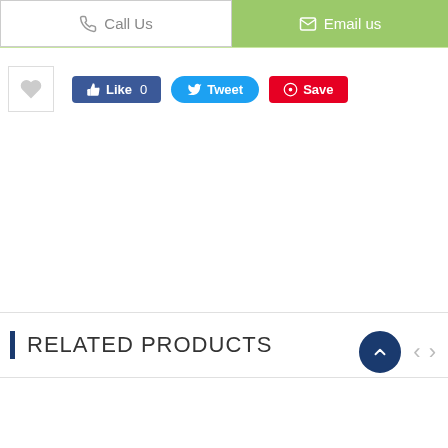[Figure (screenshot): Website UI header bar with 'Call Us' button on left (white background, gray border) and 'Email us' button on right (green background, white text)]
[Figure (screenshot): Social sharing row with heart/favorite icon box, Facebook Like button (blue), Tweet button (light blue rounded), and Pinterest Save button (red)]
RELATED PRODUCTS
[Figure (screenshot): Empty related products carousel area with navigation arrows and scroll-to-top circular button]